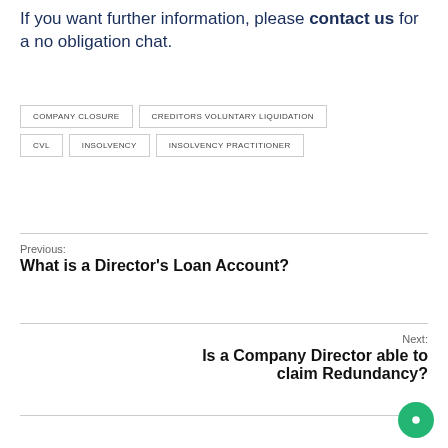If you want further information, please contact us for a no obligation chat.
COMPANY CLOSURE
CREDITORS VOLUNTARY LIQUIDATION
CVL
INSOLVENCY
INSOLVENCY PRACTITIONER
Previous: What is a Director's Loan Account?
Next: Is a Company Director able to claim Redundancy?